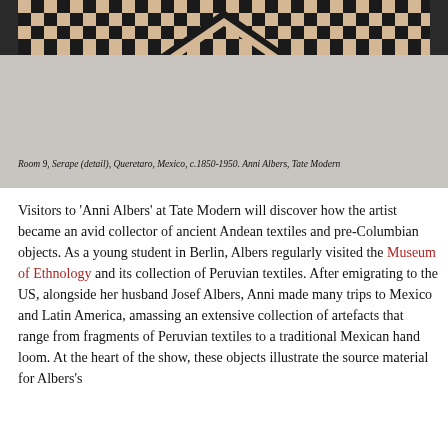[Figure (photo): Room 9, Serape (detail), Queretaro, Mexico, c.1850-1950. Anni Albers, Tate Modern. Image shows a textile with black and tan checkered pattern at the top with a chevron/zigzag motif in the center, below which is a large light grey area representing the full textile detail.]
Room 9, Serape (detail), Queretaro, Mexico, c.1850-1950. Anni Albers, Tate Modern
Visitors to 'Anni Albers' at Tate Modern will discover how the artist became an avid collector of ancient Andean textiles and pre-Columbian objects. As a young student in Berlin, Albers regularly visited the Museum of Ethnology and its collection of Peruvian textiles. After emigrating to the US, alongside her husband Josef Albers, Anni made many trips to Mexico and Latin America, amassing an extensive collection of artefacts that range from fragments of Peruvian textiles to a traditional Mexican hand loom. At the heart of the show, these objects illustrate the source material for Albers's